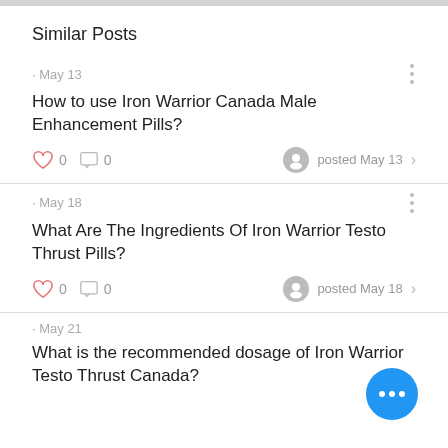Similar Posts
· May 13
How to use Iron Warrior Canada Male Enhancement Pills?
♡ 0  ◻ 0   posted May 13 ›
· May 18
What Are The Ingredients Of Iron Warrior Testo Thrust Pills?
♡ 0  ◻ 0   posted May 18 ›
· May 21
What is the recommended dosage of Iron Warrior Testo Thrust Canada?